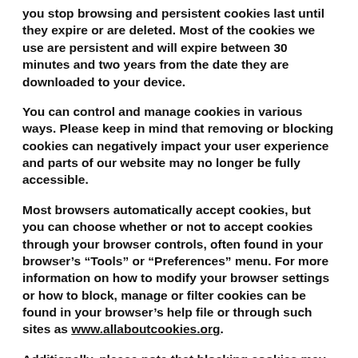you stop browsing and persistent cookies last until they expire or are deleted. Most of the cookies we use are persistent and will expire between 30 minutes and two years from the date they are downloaded to your device.
You can control and manage cookies in various ways. Please keep in mind that removing or blocking cookies can negatively impact your user experience and parts of our website may no longer be fully accessible.
Most browsers automatically accept cookies, but you can choose whether or not to accept cookies through your browser controls, often found in your browser's “Tools” or “Preferences” menu. For more information on how to modify your browser settings or how to block, manage or filter cookies can be found in your browser’s help file or through such sites as www.allaboutcookies.org.
Additionally, please note that blocking cookies may not completely prevent how we share information with third parties such as our advertising partners. To exercise your rights or to opt-out of certain information sharing...